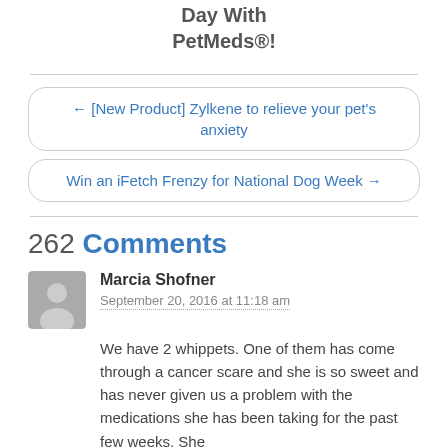Day With PetMeds®!
← [New Product] Zylkene to relieve your pet's anxiety
Win an iFetch Frenzy for National Dog Week →
262 Comments
Marcia Shofner
September 20, 2016 at 11:18 am
We have 2 whippets. One of them has come through a cancer scare and she is so sweet and has never given us a problem with the medications she has been taking for the past few weeks. She